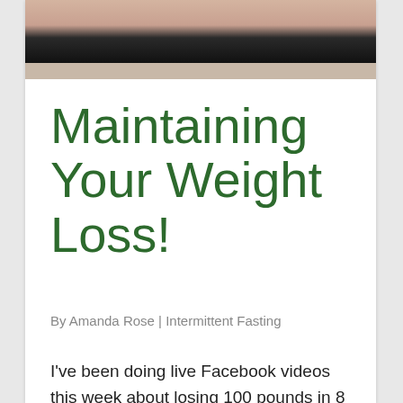[Figure (photo): Cropped photo of a person's lower face and neck, with a dark background (hat or clothing visible at top right)]
Maintaining Your Weight Loss!
By Amanda Rose | Intermittent Fasting
I've been doing live Facebook videos this week about losing 100 pounds in 8 months and in yesterday's video,